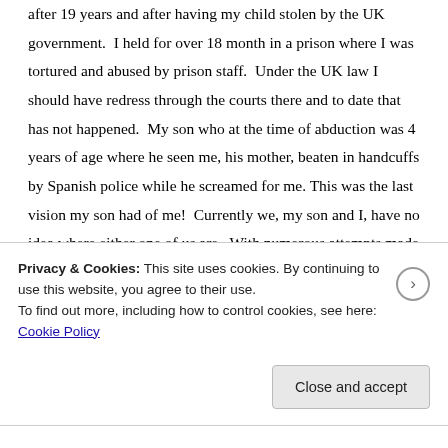after 19 years and after having my child stolen by the UK government.  I held for over 18 month in a prison where I was tortured and abused by prison staff.  Under the UK law I should have redress through the courts there and to date that has not happened.  My son who at the time of abduction was 4 years of age where he seen me, his mother, beaten in handcuffs by Spanish police while he screamed for me. This was the last vision my son had of me!  Currently we, my son and I, have no idea where either one of us are.  With numerous attempts made to get contact with my now 6 year old child I am repeatedly refused.  I have in possession a court order which gives me the right to have contact but the social worker refuses to allow
Privacy & Cookies: This site uses cookies. By continuing to use this website, you agree to their use.
To find out more, including how to control cookies, see here: Cookie Policy
Close and accept